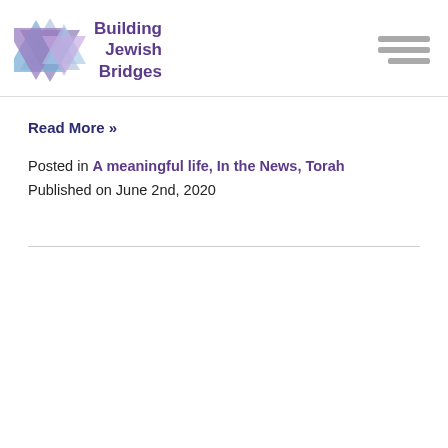Building Jewish Bridges
Read More »
Posted in A meaningful life, In the News, Torah
Published on June 2nd, 2020